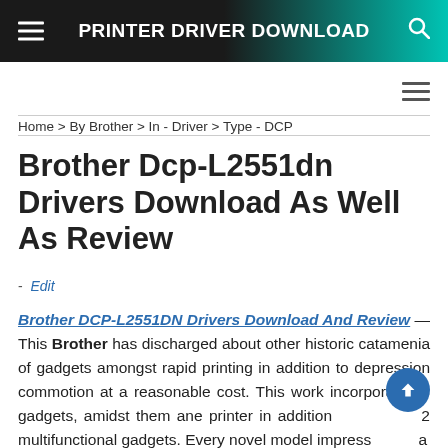PRINTER DRIVER DOWNLOAD
Home > By Brother > In - Driver > Type - DCP
Brother Dcp-L2551dn Drivers Download As Well As Review
- Edit
Brother DCP-L2551DN Drivers Download And Review — This Brother has discharged about other historic catamenia of gadgets amongst rapid printing in addition to depression commotion at a reasonable cost. This work incorporates 3 gadgets, amidst them ane printer in addition 2 multifunctional gadgets. Every novel model impress at a